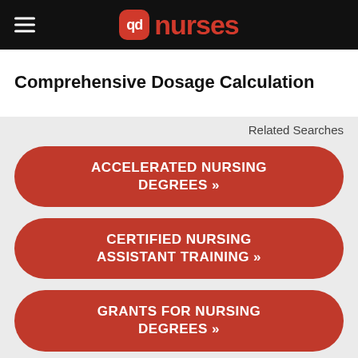qd nurses
Comprehensive Dosage Calculation
Related Searches
ACCELERATED NURSING DEGREES »
CERTIFIED NURSING ASSISTANT TRAINING »
GRANTS FOR NURSING DEGREES »